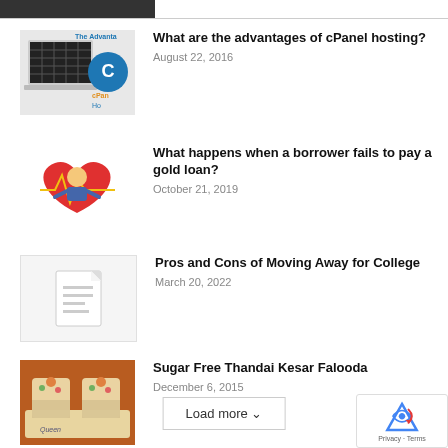MOST POPULAR
[Figure (illustration): cPanel hosting article thumbnail with laptop and cPanel logo]
What are the advantages of cPanel hosting?
August 22, 2016
[Figure (illustration): Cartoon of a man with a heart and medical theme for gold loan article]
What happens when a borrower fails to pay a gold loan?
October 21, 2019
[Figure (illustration): Generic article placeholder thumbnail with document icon]
Pros and Cons of Moving Away for College
March 20, 2022
[Figure (photo): Photo of Sugar Free Thandai Kesar Falooda dessert drinks]
Sugar Free Thandai Kesar Falooda
December 6, 2015
Load more